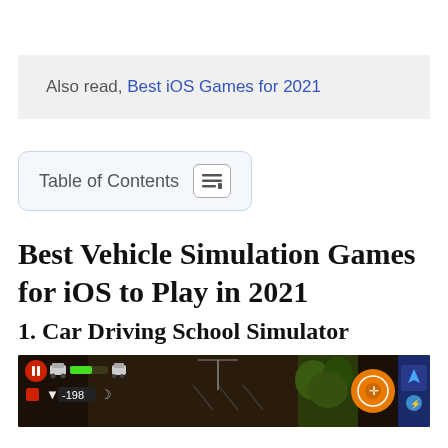Also read, Best iOS Games for 2021
Table of Contents
Best Vehicle Simulation Games for iOS to Play in 2021
1. Car Driving School Simulator
[Figure (screenshot): Screenshot of Car Driving School Simulator game showing HUD elements including pause button, speed indicator showing -198, health bar, and a dark nighttime driving scene with orange waypoint circle and map in upper right]